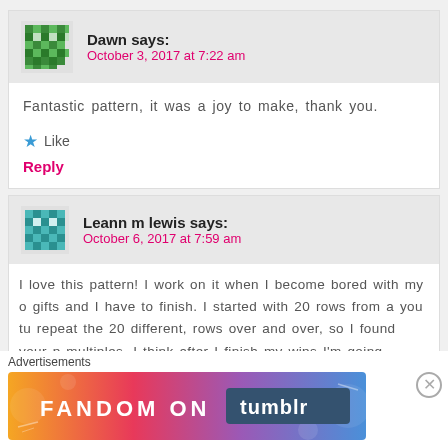Dawn says: October 3, 2017 at 7:22 am
Fantastic pattern, it was a joy to make, thank you.
Like
Reply
Leann m lewis says: October 6, 2017 at 7:59 am
I love this pattern! I work on it when I become bored with my gifts and I have to finish. I started with 20 rows from a you tu repeat the 20 different, rows over and over, so I found your p multiples. I think after I finish my wips I'm going strictly for th when its constantly changing! Thank you so much for the patt
Advertisements
[Figure (illustration): Fandom on Tumblr advertisement banner with colorful gradient background]